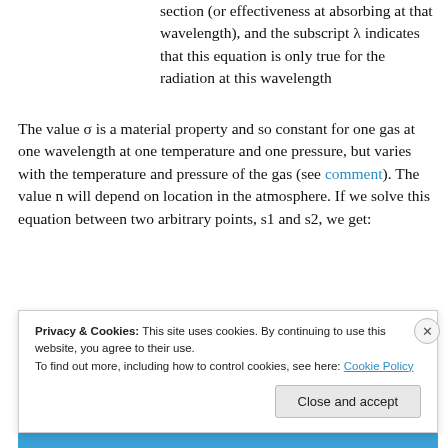section (or effectiveness at absorbing at that wavelength), and the subscript λ indicates that this equation is only true for the radiation at this wavelength
The value σ is a material property and so constant for one gas at one wavelength at one temperature and one pressure, but varies with the temperature and pressure of the gas (see comment). The value n will depend on location in the atmosphere. If we solve this equation between two arbitrary points, s1 and s2, we get:
Privacy & Cookies: This site uses cookies. By continuing to use this website, you agree to their use. To find out more, including how to control cookies, see here: Cookie Policy
Close and accept